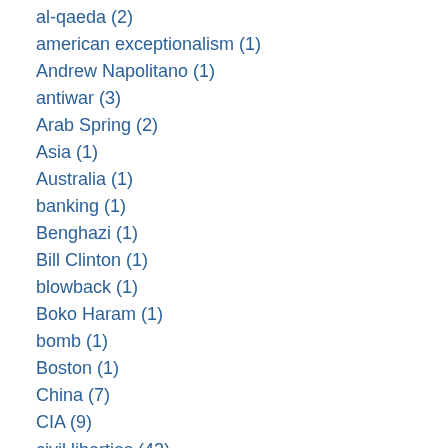al-qaeda (2)
american exceptionalism (1)
Andrew Napolitano (1)
antiwar (3)
Arab Spring (2)
Asia (1)
Australia (1)
banking (1)
Benghazi (1)
Bill Clinton (1)
blowback (1)
Boko Haram (1)
bomb (1)
Boston (1)
China (7)
CIA (9)
civil liberties (42)
Cold War (1)
color revolution (2)
Common Core (1)
Congress (2)
constitution (1)
Crimea (5)
Cuba (3)